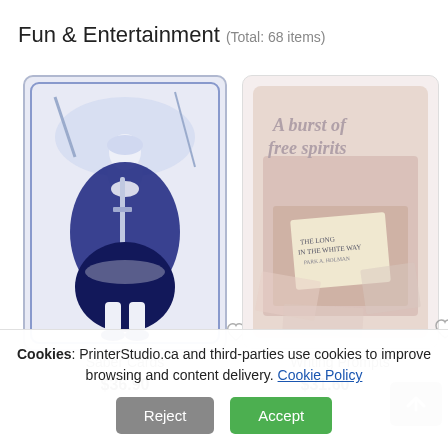Fun & Entertainment (Total: 68 items)
[Figure (photo): Anime-style card depicting a female character (Saber) in blue and white illustration, holding a sword, kneeling pose, blue monochrome art style.]
[Figure (photo): Writing Prompts card with a collage of paper scraps, with text 'A burst of free spirits' and smaller book cover visible.]
Saber Cards
Writing Prompts
$36.90
$31.60
Cookies: PrinterStudio.ca and third-parties use cookies to improve browsing and content delivery. Cookie Policy
Reject
Accept